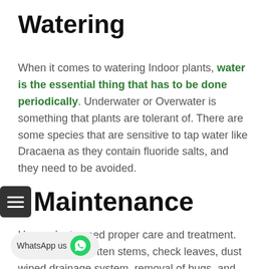Watering
When it comes to watering Indoor plants, water is the essential thing that has to be done periodically. Underwater or Overwater is something that plants are tolerant of. There are some species that are sensitive to tap water like Dracaena as they contain fluoride salts, and they need to be avoided.
Maintenance
Houseplants need proper care and treatment. Like there are rotten stems, check leaves, dust wiped drainage system, removal of bugs, and